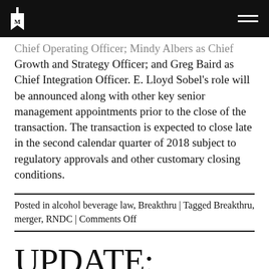Chief Operating Officer; Mindy Albers as Chief Growth and Strategy Officer; and Greg Baird as Chief Integration Officer. E. Lloyd Sobel's role will be announced along with other key senior management appointments prior to the close of the transaction. The transaction is expected to close late in the second calendar quarter of 2018 subject to regulatory approvals and other customary closing conditions.
Posted in alcohol beverage law, Breakthru | Tagged Breakthru, merger, RNDC | Comments Off
UPDATE: Empire Merchants